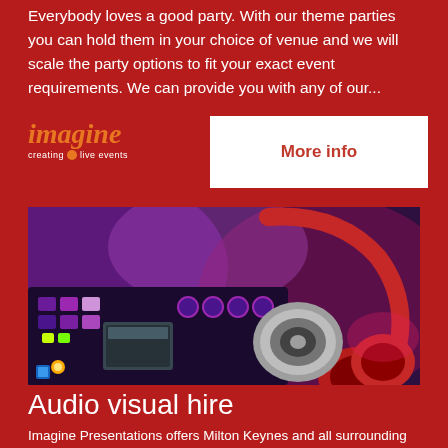Everybody loves a good party. With our theme parties you can hold them in your choice of venue and we will scale the party options to fit your exact event requirements. We can provide you with any of our...
[Figure (logo): Imagine logo with text 'imagine' in orange italic and 'creating live events' in white below]
More info
[Figure (photo): Close-up photo of DJ equipment with headphones and mixing board, lit with purple and pink lights]
Audio visual hire
Imagine Presentations offers Milton Keynes and all surrounding areas a professional audio visual hire